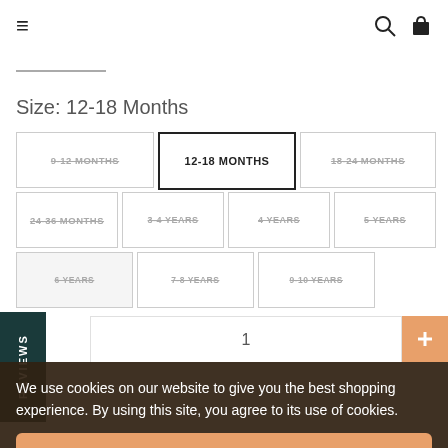≡  🔍 🧺
Size: 12-18 Months
9-12 MONTHS (unavailable)
12-18 MONTHS (selected)
18-24 MONTHS (unavailable)
24-36 MONTHS (unavailable)
3-4 YEARS (unavailable)
4 YEARS (unavailable)
5 YEARS (unavailable)
6 YEARS (unavailable)
7-8 YEARS (unavailable)
9-10 YEARS (unavailable)
1
We use cookies on our website to give you the best shopping experience. By using this site, you agree to its use of cookies.
I AGREE
fit with a round neck. Featuring a graphic Print on the front